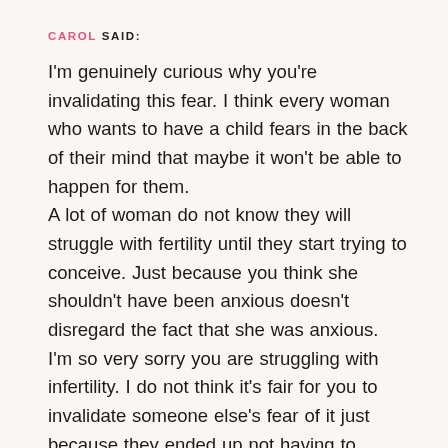CAROL SAID: I'm genuinely curious why you're invalidating this fear. I think every woman who wants to have a child fears in the back of their mind that maybe it won't be able to happen for them. A lot of woman do not know they will struggle with fertility until they start trying to conceive. Just because you think she shouldn't have been anxious doesn't disregard the fact that she was anxious. I'm so very sorry you are struggling with infertility. I do not think it's fair for you to invalidate someone else's fear of it just because they ended up not having to struggle with it.